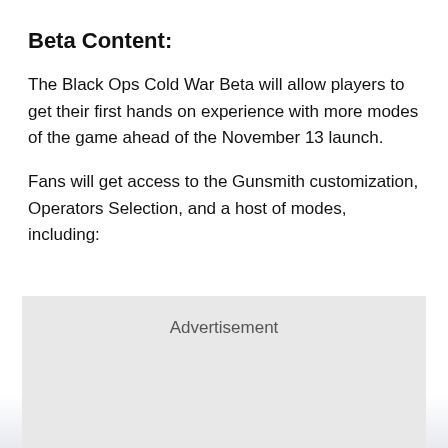Beta Content:
The Black Ops Cold War Beta will allow players to get their first hands on experience with more modes of the game ahead of the November 13 launch.
Fans will get access to the Gunsmith customization, Operators Selection, and a host of modes, including:
[Figure (other): Advertisement placeholder box with gray background]